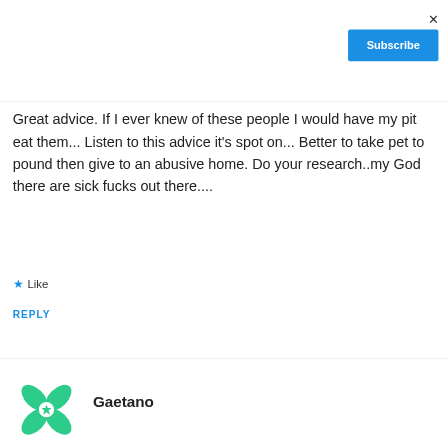×
Subscribe
Great advice. If I ever knew of these people I would have my pit eat them... Listen to this advice it's spot on... Better to take pet to pound then give to an abusive home. Do your research..my God there are sick fucks out there....
★ Like
REPLY
Gaetano